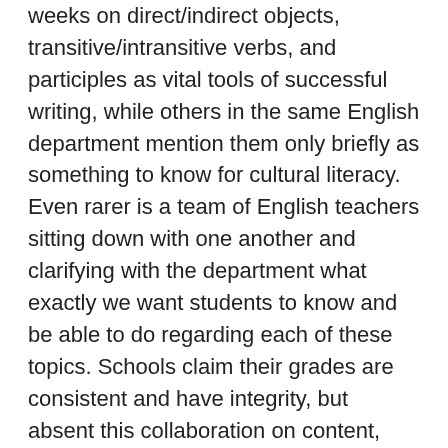weeks on direct/indirect objects, transitive/intransitive verbs, and participles as vital tools of successful writing, while others in the same English department mention them only briefly as something to know for cultural literacy. Even rarer is a team of English teachers sitting down with one another and clarifying with the department what exactly we want students to know and be able to do regarding each of these topics. Schools claim their grades are consistent and have integrity, but absent this collaboration on content, they are inconsistent and lack integrity. I've encountered this in all departments, not just in English. As a result, grading continues to fester as a game to play rather than as meaningful reporting of student progress according to standards. And then dhi i...